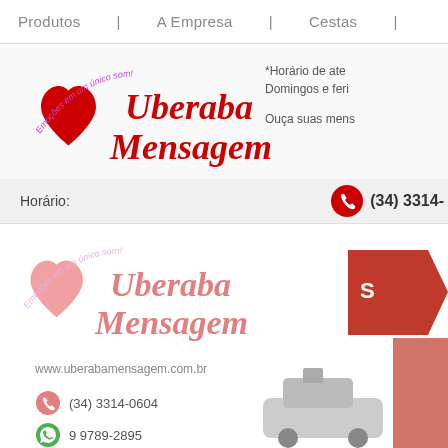Produtos | A Empresa | Cestas
[Figure (logo): Uberaba Mensagem logo with heart and cursive text 'Emoções em um único som!']
*Horário de atendimento: Domingos e feriados
Ouça suas mensagens
Horário:
(34) 3314-
[Figure (logo): Uberaba Mensagem faded/watermark logo in footer area]
www.uberabamensagem.com.br
(34) 3314-0604
9 9789-2895